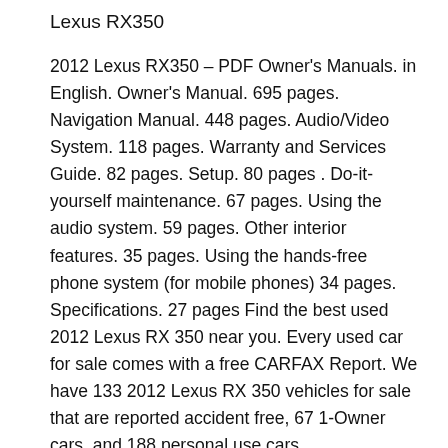Lexus RX350
2012 Lexus RX350 – PDF Owner's Manuals. in English. Owner's Manual. 695 pages. Navigation Manual. 448 pages. Audio/Video System. 118 pages. Warranty and Services Guide. 82 pages. Setup. 80 pages . Do-it-yourself maintenance. 67 pages. Using the audio system. 59 pages. Other interior features. 35 pages. Using the hands-free phone system (for mobile phones) 34 pages. Specifications. 27 pages Find the best used 2012 Lexus RX 350 near you. Every used car for sale comes with a free CARFAX Report. We have 133 2012 Lexus RX 350 vehicles for sale that are reported accident free, 67 1-Owner cars, and 188 personal use cars.